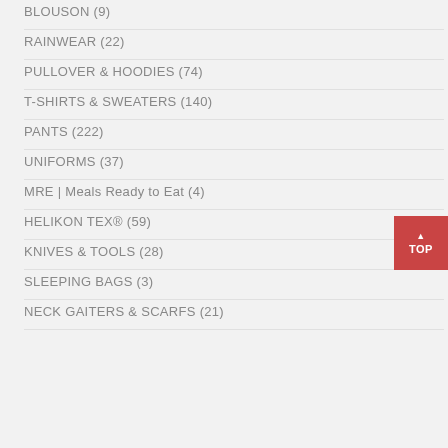BLOUSON (9)
RAINWEAR (22)
PULLOVER & HOODIES (74)
T-SHIRTS & SWEATERS (140)
PANTS (222)
UNIFORMS (37)
MRE | Meals Ready to Eat (4)
HELIKON TEX® (59)
KNIVES & TOOLS (28)
SLEEPING BAGS (3)
NECK GAITERS & SCARFS (21)